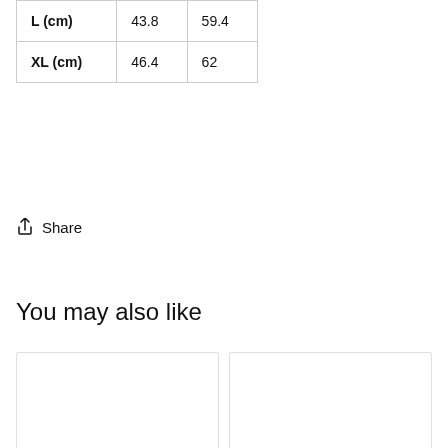|  |  |  |
| --- | --- | --- |
| L (cm) | 43.8 | 59.4 |
| XL (cm) | 46.4 | 62 |
↑ Share
You may also like
[Figure (other): Two empty product image placeholder cards side by side]